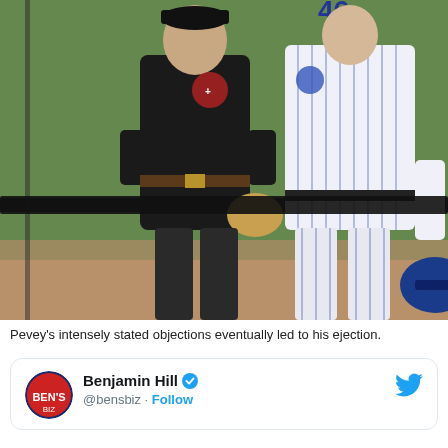[Figure (photo): Photo of a baseball umpire in black uniform and a manager or player in a white pinstripe uniform with number 46, standing near a batting cage net on a baseball field. The person in white is holding a blue helmet. The umpire has hands on hips.]
Pevey's intensely stated objections eventually led to his ejection.
[Figure (screenshot): Twitter/X card showing user Benjamin Hill (@bensbiz) with a verified blue checkmark badge, a follow button in blue, and the Twitter bird logo in the top right. The avatar is a circular logo.]